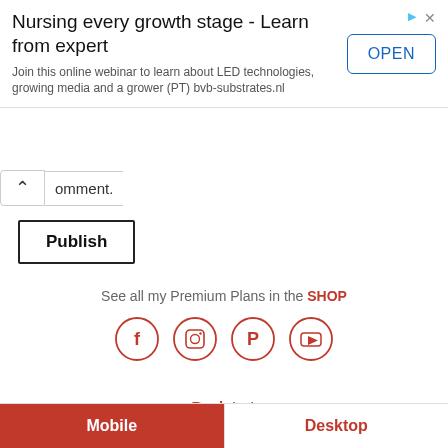[Figure (screenshot): Advertisement banner: 'Nursing every growth stage - Learn from expert' with OPEN button and ad icons]
omment.
Publish
See all my Premium Plans in the SHOP
[Figure (infographic): Social media icons: Facebook, Instagram, Pinterest, YouTube in red circles]
Back to top
Mobile   Desktop